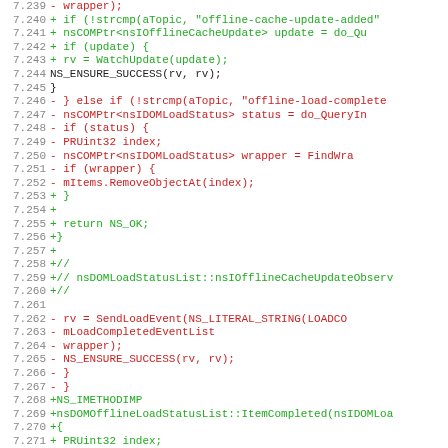[Figure (screenshot): Code diff viewer showing lines 7.239–7.271 of a source file. Lines prefixed with '+' are shown in green (additions), lines prefixed with '-' are shown in red (deletions), and lines with no prefix are shown in black (context). The code involves C++ methods related to offline cache update observers and DOM load status lists.]